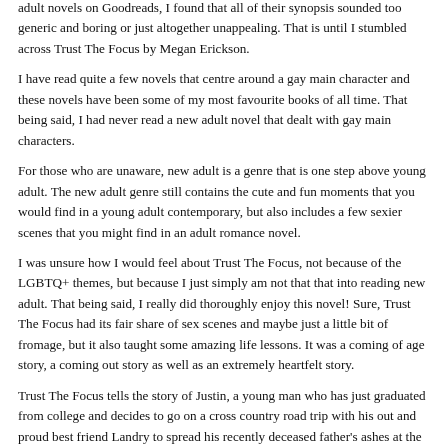adult novels on Goodreads, I found that all of their synopsis sounded too generic and boring or just altogether unappealing. That is until I stumbled across Trust The Focus by Megan Erickson.
I have read quite a few novels that centre around a gay main character and these novels have been some of my most favourite books of all time. That being said, I had never read a new adult novel that dealt with gay main characters.
For those who are unaware, new adult is a genre that is one step above young adult. The new adult genre still contains the cute and fun moments that you would find in a young adult contemporary, but also includes a few sexier scenes that you might find in an adult romance novel.
I was unsure how I would feel about Trust The Focus, not because of the LGBTQ+ themes, but because I just simply am not that that into reading new adult. That being said, I really did thoroughly enjoy this novel! Sure, Trust The Focus had its fair share of sex scenes and maybe just a little bit of fromage, but it also taught some amazing life lessons. It was a coming of age story, a coming out story as well as an extremely heartfelt story.
Trust The Focus tells the story of Justin, a young man who has just graduated from college and decides to go on a cross country road trip with his out and proud best friend Landry to spread his recently deceased father's ashes at the locations that he loved to photograph before he passed away. What Landry doesn't know is that Justin has been in the closet